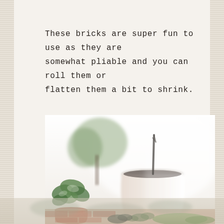These bricks are super fun to use as they are somewhat pliable and you can roll them or flatten them a bit to shrink.
[Figure (photo): A bright, overexposed outdoor garden scene featuring a large white ceramic/terracotta pot with a dark plant stem, green leafy plants in terracotta pots on the left, small succulents at the bottom center, red brick pavers, and green moss or ground cover. The image has a very light, airy, washed-out aesthetic.]